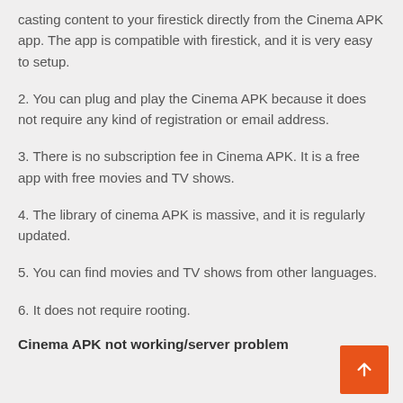casting content to your firestick directly from the Cinema APK app. The app is compatible with firestick, and it is very easy to setup.
2. You can plug and play the Cinema APK because it does not require any kind of registration or email address.
3. There is no subscription fee in Cinema APK. It is a free app with free movies and TV shows.
4. The library of cinema APK is massive, and it is regularly updated.
5. You can find movies and TV shows from other languages.
6. It does not require rooting.
Cinema APK not working/server problem